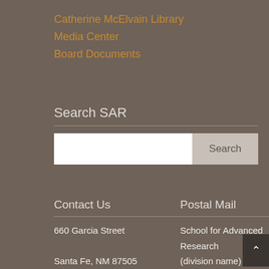Catherine McElvain Library
Media Center
Board Documents
Search SAR
Contact Us   Postal Mail
660 Garcia Street   School for Advanced Research
Santa Fe, NM 87505   (division name)
Phone: 505 954 7200   Post Office Box 2188
Contact SAR   Santa Fe, NM 87504-2188